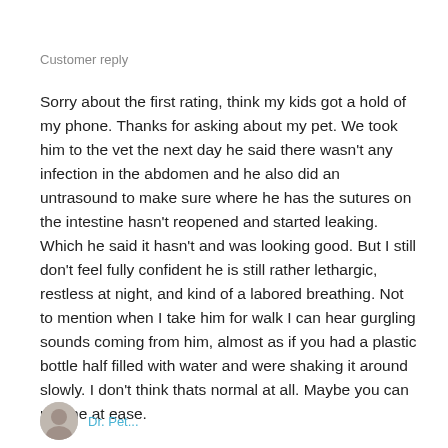Customer reply
Sorry about the first rating, think my kids got a hold of my phone. Thanks for asking about my pet. We took him to the vet the next day he said there wasn't any infection in the abdomen and he also did an untrasound to make sure where he has the sutures on the intestine hasn't reopened and started leaking. Which he said it hasn't and was looking good. But I still don't feel fully confident he is still rather lethargic, restless at night, and kind of a labored breathing. Not to mention when I take him for walk I can hear gurgling sounds coming from him, almost as if you had a plastic bottle half filled with water and were shaking it around slowly. I don't think thats normal at all. Maybe you can put me at ease.
[Figure (photo): Partial avatar/profile photo at bottom left of page]